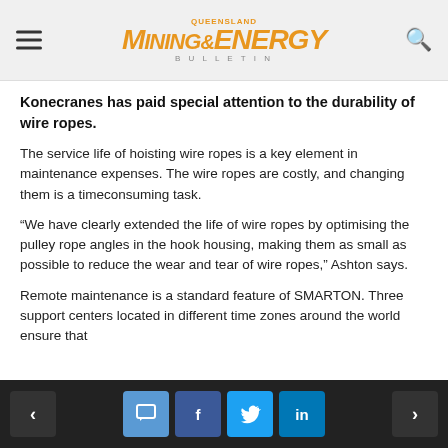QUEENSLAND MINING & ENERGY BULLETIN
Konecranes has paid special attention to the durability of wire ropes.
The service life of hoisting wire ropes is a key element in maintenance expenses. The wire ropes are costly, and changing them is a timeconsuming task.
“We have clearly extended the life of wire ropes by optimising the pulley rope angles in the hook housing, making them as small as possible to reduce the wear and tear of wire ropes,” Ashton says.
Remote maintenance is a standard feature of SMARTON. Three support centers located in different time zones around the world ensure that